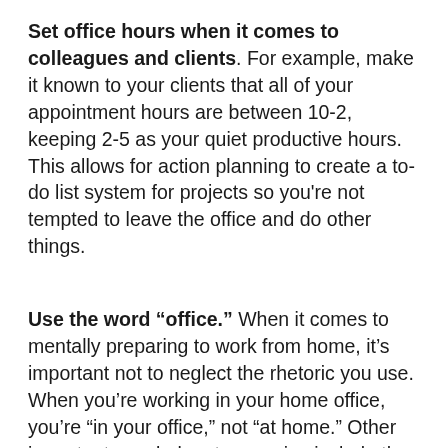Set office hours when it comes to colleagues and clients. For example, make it known to your clients that all of your appointment hours are between 10-2, keeping 2-5 as your quiet productive hours. This allows for action planning to create a to-do list system for projects so you're not tempted to leave the office and do other things.
Use the word “office.” When it comes to mentally preparing to work from home, it’s important not to neglect the rhetoric you use. When you’re working in your home office, you’re “in your office,” not “at home.” Other important vocabulary to exercise include the words “working,” “being in a meeting,” and “staying offline.” Keep all verbiage office-oriented for mental association. Not because you’re embarrassed in any way to communicate that